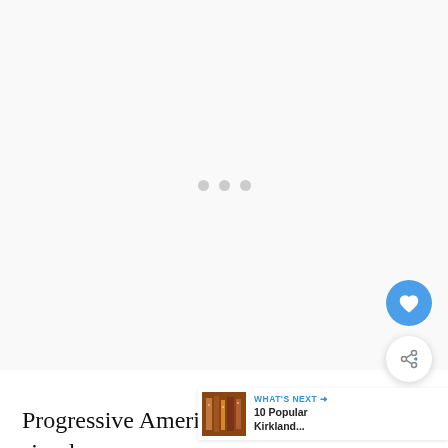[Figure (other): Large white media placeholder area with three grey loading dots centered]
[Figure (other): Blue circular like/heart button floating on right side]
[Figure (other): White circular share button with share icon floating on right side]
[Figure (other): What's Next banner with thumbnail image of books/shelves and text '10 Popular Kirkland...']
Progressive American fare featuring simple, ingredients flame-broiled on a charcoal grill. The Twisted